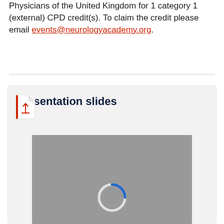Physicians of the United Kingdom for 1 category 1 (external) CPD credit(s). To claim the credit please email events@neurologyacademy.org.
[Figure (screenshot): Card with PDF icon and 'Presentation slides' heading, with a grey preview area showing a loading spinner (white and blue circular arc).]